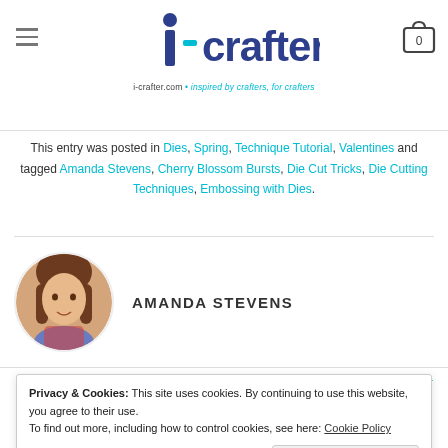[Figure (logo): i-crafter logo with tagline 'i-crafter.com • inspired by crafters, for crafters']
This entry was posted in Dies, Spring, Technique Tutorial, Valentines and tagged Amanda Stevens, Cherry Blossom Bursts, Die Cut Tricks, Die Cutting Techniques, Embossing with Dies.
[Figure (photo): Circular profile photo of Amanda Stevens]
AMANDA STEVENS
Privacy & Cookies: This site uses cookies. By continuing to use this website, you agree to their use.
To find out more, including how to control cookies, see here: Cookie Policy
Close and accept